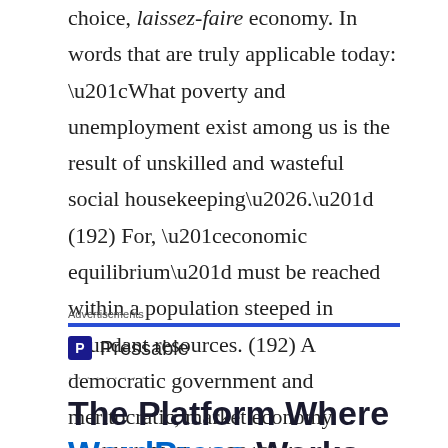choice, laissez-faire economy. In words that are truly applicable today: “What poverty and unemployment exist among us is the result of unskilled and wasteful social housekeeping….” (192) For, “economic equilibrium” must be reached within a population steeped in abundant resources. (192) A democratic government and meritocratic, market economy establish Kallen’s America.
Advertisements
[Figure (logo): Pressable logo with blue square icon containing letter P and text 'Pressable']
.........
The Platform Where WordPress Works Best